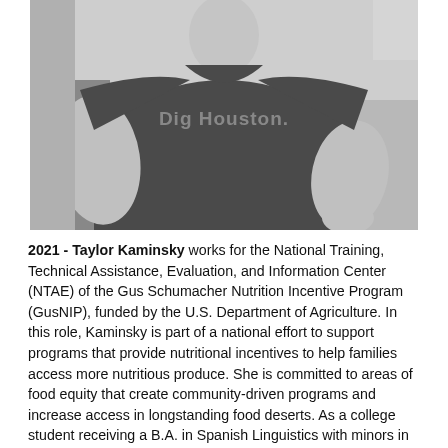[Figure (photo): Black and white photograph of Taylor Kaminsky from the torso/shoulders up, wearing a dark t-shirt that reads 'Dig Houston.' Text on shirt is in a lighter gray.]
2021 - Taylor Kaminsky works for the National Training, Technical Assistance, Evaluation, and Information Center (NTAE) of the Gus Schumacher Nutrition Incentive Program (GusNIP), funded by the U.S. Department of Agriculture. In this role, Kaminsky is part of a national effort to support programs that provide nutritional incentives to help families access more nutritious produce. She is committed to areas of food equity that create community-driven programs and increase access in longstanding food deserts. As a college student receiving a B.A. in Spanish Linguistics with minors in Business and Latin American Studies in 2016, Taylor was drawn to food by her community...